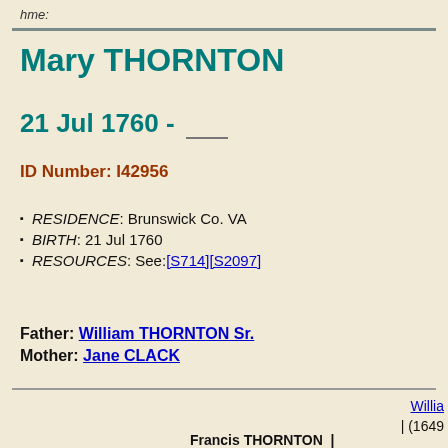hme:
Mary THORNTON
21 Jul 1760 - ____
ID Number: I42956
RESIDENCE: Brunswick Co. VA
BIRTH: 21 Jul 1760
RESOURCES: See: [S714] [S2097]
Father: William THORNTON Sr.
Mother: Jane CLACK
Willia (1649
Francis THORNTON |